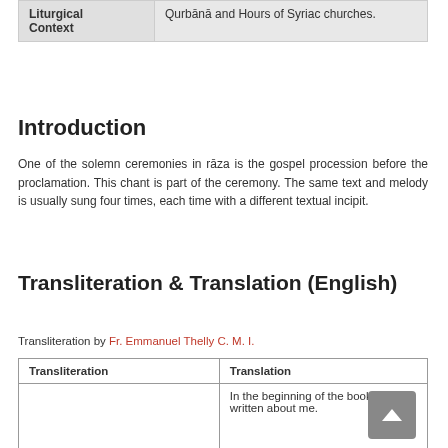| Liturgical Context |  |
| --- | --- |
| Liturgical Context | Qurbānā and Hours of Syriac churches. |
Introduction
One of the solemn ceremonies in rāza is the gospel procession before the proclamation. This chant is part of the ceremony. The same text and melody is usually sung four times, each time with a different textual incipit.
Transliteration & Translation (English)
Transliteration by Fr. Emmanuel Thelly C. M. I.
| Transliteration | Translation |
| --- | --- |
|  | In the beginning of the books it is written about me. |
| Dawrēś k'tāwē kriw alay |  |